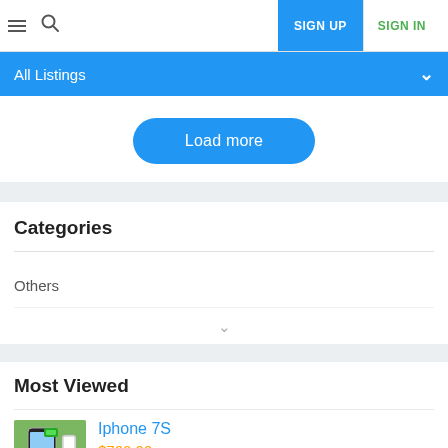SIGN UP  SIGN IN
All Listings
Load more
Categories
Others
Most Viewed
Iphone 7S
$700.00